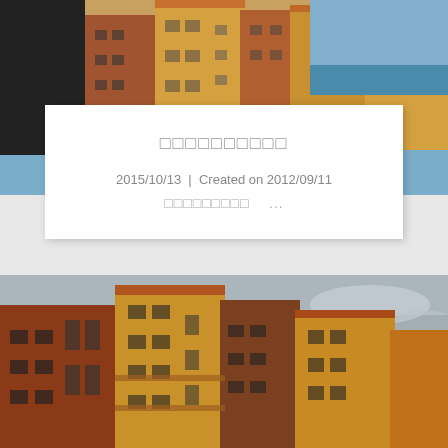[Figure (photo): Aerial/street-level view of colorful multi-story apartment buildings with terracotta roofs, ochre/yellow and brown/red exterior walls, balconies, windows, and blue ocean/sky in background]
□□□□□□□□□□
2015/10/13 | Created on 2012/09/11
□□□□□□□□□  ...
[Figure (photo): Close-up street-level view of colorful multi-story apartment buildings with terracotta roofs, ochre/yellow and brown/red exterior walls, balconies and windows, cloudy grey sky in background]